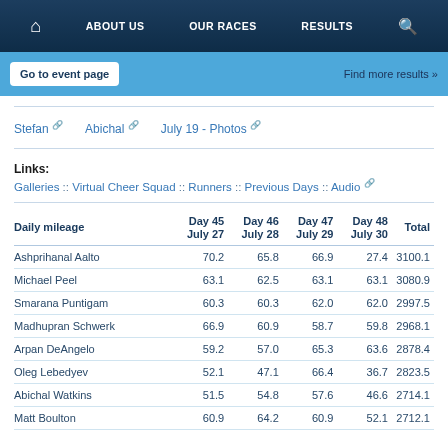Home | ABOUT US | OUR RACES | RESULTS | Search
Go to event page | Find more results »
Stefan 🔗   Abichal 🔗   July 19 - Photos 🔗
Links: Galleries :: Virtual Cheer Squad :: Runners :: Previous Days :: Audio 🔗
| Daily mileage | Day 45 July 27 | Day 46 July 28 | Day 47 July 29 | Day 48 July 30 | Total |
| --- | --- | --- | --- | --- | --- |
| Ashprihanal Aalto | 70.2 | 65.8 | 66.9 | 27.4 | 3100.1 |
| Michael Peel | 63.1 | 62.5 | 63.1 | 63.1 | 3080.9 |
| Smarana Puntigam | 60.3 | 60.3 | 62.0 | 62.0 | 2997.5 |
| Madhupran Schwerk | 66.9 | 60.9 | 58.7 | 59.8 | 2968.1 |
| Arpan DeAngelo | 59.2 | 57.0 | 65.3 | 63.6 | 2878.4 |
| Oleg Lebedyev | 52.1 | 47.1 | 66.4 | 36.7 | 2823.5 |
| Abichal Watkins | 51.5 | 54.8 | 57.6 | 46.6 | 2714.1 |
| Matt Boulton | 60.9 | 64.2 | 60.9 | 52.1 | 2712.1 |